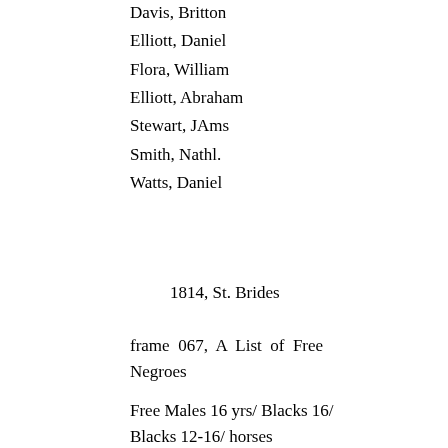Davis, Britton
Elliott, Daniel
Flora, William
Elliott, Abraham
Stewart, JAms
Smith, Nathl.
Watts, Daniel
1814, St. Brides
frame 067, A List of Free Negroes
Free Males 16 yrs/ Blacks 16/ Blacks 12-16/ horses